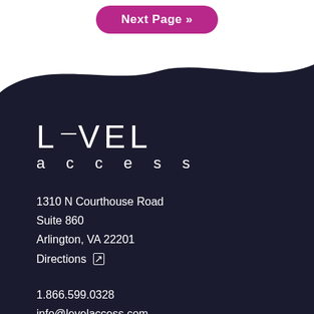Next Page »
[Figure (logo): Level Access logo — white text on dark background, with a horizontal dash between L and VEL, and 'access' in spaced lowercase beneath]
1310 N Courthouse Road
Suite 860
Arlington, VA 22201
Directions ↗
1.866.599.0328
info@levelaccess.com
Resources